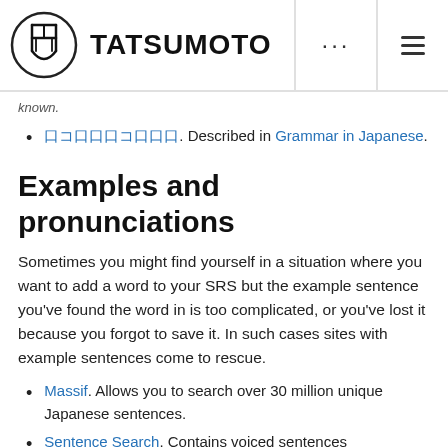TATSUMOTO
口コ口口口コ口口口. Described in Grammar in Japanese.
Examples and pronunciations
Sometimes you might find yourself in a situation where you want to add a word to your SRS but the example sentence you've found the word in is too complicated, or you've lost it because you forgot to save it. In such cases sites with example sentences come to rescue.
Massif. Allows you to search over 30 million unique Japanese sentences.
Sentence Search. Contains voiced sentences